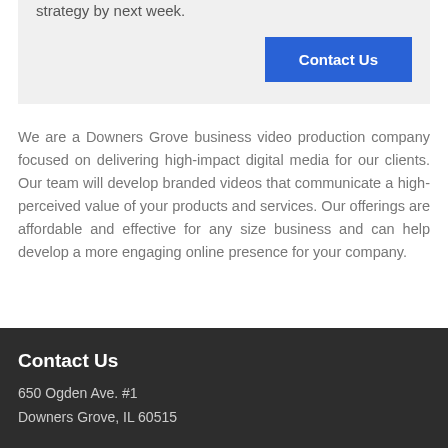strategy by next week.
[Figure (other): Contact Us button — blue rectangle with white bold text]
We are a Downers Grove business video production company focused on delivering high-impact digital media for our clients. Our team will develop branded videos that communicate a high-perceived value of your products and services. Our offerings are affordable and effective for any size business and can help develop a more engaging online presence for your company.
Contact Us
650 Ogden Ave. #1
Downers Grove, IL 60515